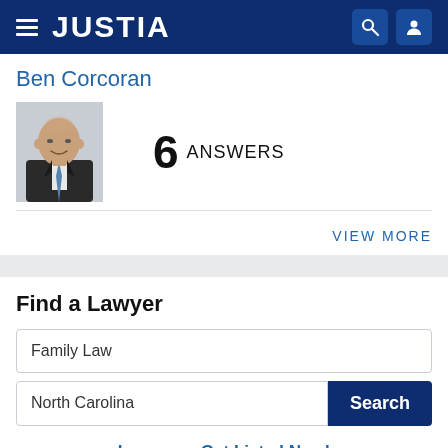JUSTIA
Ben Corcoran
[Figure (photo): Headshot photo of Ben Corcoran, a bald man in a dark suit and blue tie, smiling]
6 ANSWERS
VIEW MORE
Find a Lawyer
Family Law
North Carolina
Search
Lawyers - Get Listed Now!
Get a free directory profile listing